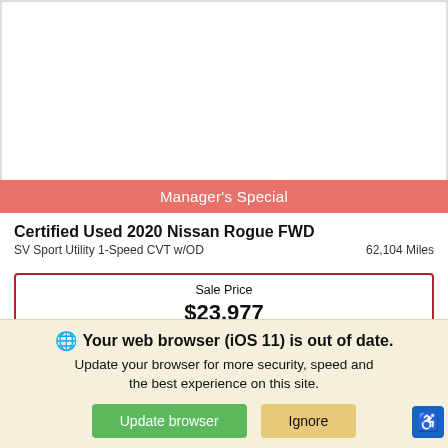[Figure (photo): White empty area representing a car photo placeholder]
Manager's Special
Certified Used 2020 Nissan Rogue FWD
SV Sport Utility 1-Speed CVT w/OD	62,104 Miles
| Sale Price | $23,977 |
*First Name
*Last Name
*Email
Phone
Contact Dealer
Your web browser (iOS 11) is out of date. Update your browser for more security, speed and the best experience on this site.
Update browser
Ignore